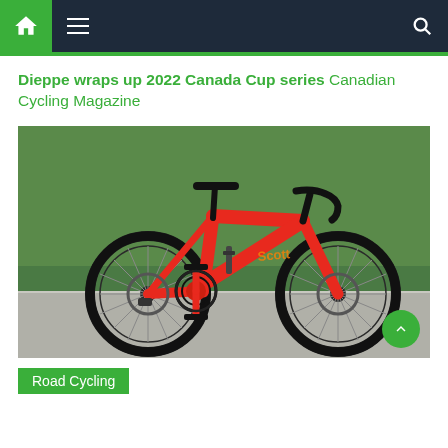Navigation bar with home, menu, and search icons
Dieppe wraps up 2022 Canada Cup series  Canadian Cycling Magazine
[Figure (photo): A red Scott road bicycle with disc brakes, photographed outdoors on a road with green trees in the background. The bike has drop handlebars, carbon frame, and black components.]
Road Cycling